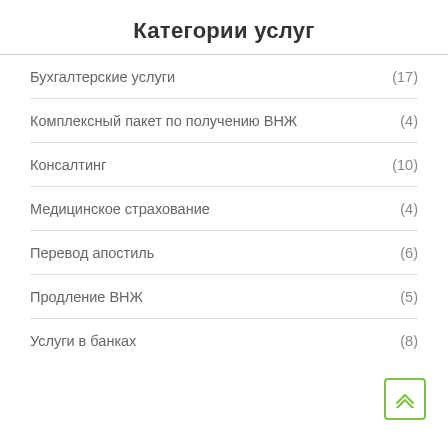Категории услуг
Бухгалтерские услуги (17)
Комплексный пакет по получению ВНЖ (4)
Консалтинг (10)
Медицинское страхование (4)
Перевод апостиль (6)
Продление ВНЖ (5)
Услуги в банках (8)